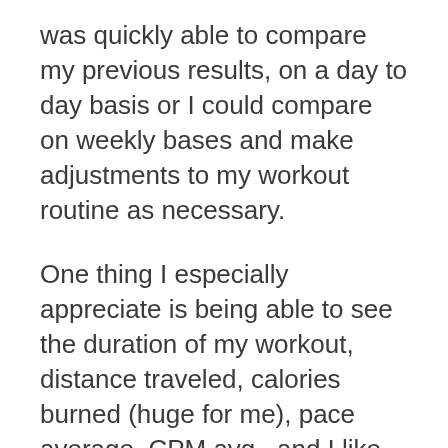was quickly able to compare my previous results, on a day to day basis or I could compare on weekly bases and make adjustments to my workout routine as necessary.
One thing I especially appreciate is being able to see the duration of my workout, distance traveled, calories burned (huge for me), pace average, CPM avg., and I like to see the Elevation ascent and descent. It really helps me see clearly how I'm actually performing from day to day based on terrain as well. It's not static. Because the history is easy to see, I can compare how I'm doing really easily. Another huge feature me is how it syncs with my Lose it App. I also track my caloric intake as I'm also adjusting my diet